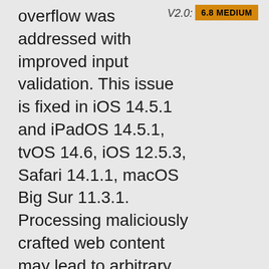overflow was addressed with improved input validation. This issue is fixed in iOS 14.5.1 and iPadOS 14.5.1, tvOS 14.6, iOS 12.5.3, Safari 14.1.1, macOS Big Sur 11.3.1. Processing maliciously crafted web content may lead to arbitrary code execution.
V2.0: 6.8 MEDIUM